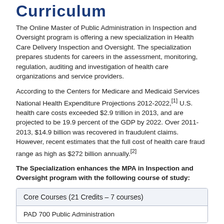Curriculum
The Online Master of Public Administration in Inspection and Oversight program is offering a new specialization in Health Care Delivery Inspection and Oversight. The specialization prepares students for careers in the assessment, monitoring, regulation, auditing and investigation of health care organizations and service providers.
According to the Centers for Medicare and Medicaid Services National Health Expenditure Projections 2012-2022,[1] U.S. health care costs exceeded $2.9 trillion in 2013, and are projected to be 19.9 percent of the GDP by 2022. Over 2011-2013, $14.9 billion was recovered in fraudulent claims. However, recent estimates that the full cost of health care fraud range as high as $272 billion annually.[2]
The Specialization enhances the MPA in Inspection and Oversight program with the following course of study:
| Core Courses (21 Credits – 7 courses) |
| --- |
| PAD 700 Public Administration |